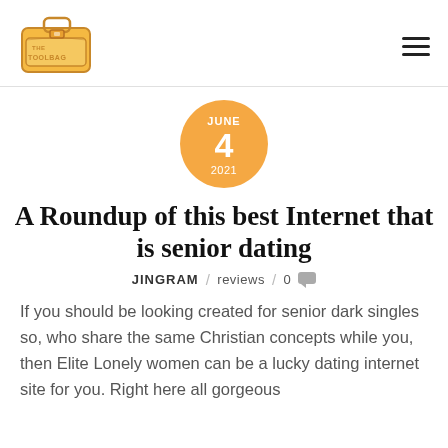THE TOOLBAG [logo] / hamburger menu
[Figure (other): Date badge circle in orange: JUNE / 4 / 2021]
A Roundup of this best Internet that is senior dating
JINGRAM / reviews / 0
If you should be looking created for senior dark singles so, who share the same Christian concepts while you, then Elite Lonely women can be a lucky dating internet site for you. Right here all gorgeous